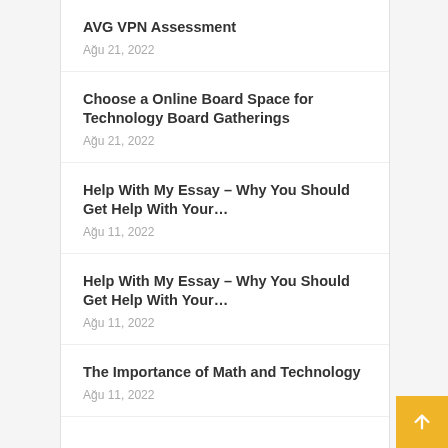AVG VPN Assessment
Ağu 21, 2022
Choose a Online Board Space for Technology Board Gatherings
Ağu 21, 2022
Help With My Essay – Why You Should Get Help With Your…
Ağu 11, 2022
Help With My Essay – Why You Should Get Help With Your…
Ağu 11, 2022
The Importance of Math and Technology
Ağu 11, 2022